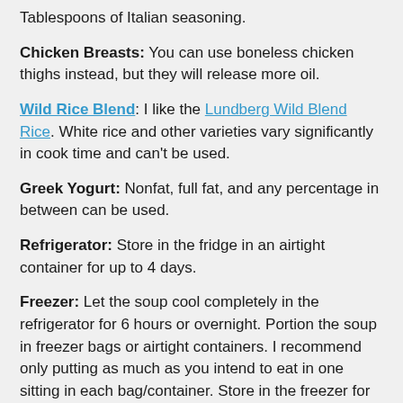Tablespoons of Italian seasoning.
Chicken Breasts: You can use boneless chicken thighs instead, but they will release more oil.
Wild Rice Blend: I like the Lundberg Wild Blend Rice. White rice and other varieties vary significantly in cook time and can't be used.
Greek Yogurt: Nonfat, full fat, and any percentage in between can be used.
Refrigerator: Store in the fridge in an airtight container for up to 4 days.
Freezer: Let the soup cool completely in the refrigerator for 6 hours or overnight. Portion the soup in freezer bags or airtight containers. I recommend only putting as much as you intend to eat in one sitting in each bag/container. Store in the freezer for up to 3 months. Thaw in the refrigerator overnight or heat from frozen following the instructions below.